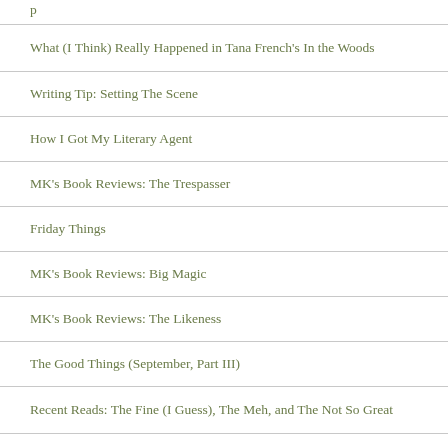p
What (I Think) Really Happened in Tana French's In the Woods
Writing Tip: Setting The Scene
How I Got My Literary Agent
MK's Book Reviews: The Trespasser
Friday Things
MK's Book Reviews: Big Magic
MK's Book Reviews: The Likeness
The Good Things (September, Part III)
Recent Reads: The Fine (I Guess), The Meh, and The Not So Great